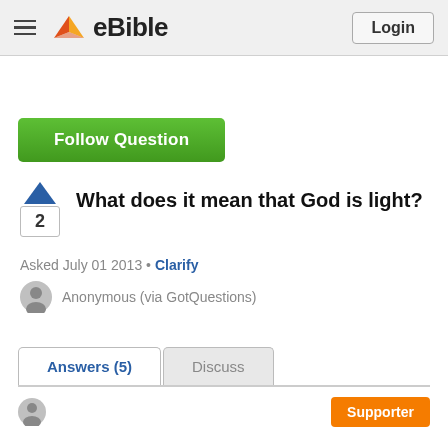eBible — Login
Follow Question
What does it mean that God is light?
Asked July 01 2013 • Clarify
Anonymous (via GotQuestions)
Answers (5)   Discuss